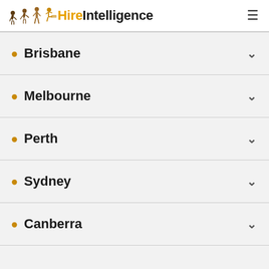HireIntelligence
Brisbane
Melbourne
Perth
Sydney
Canberra